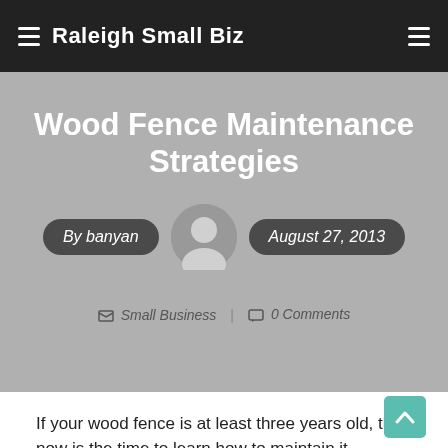Raleigh Small Biz
Wood Fence Maintenance Strategies
By banyan | August 27, 2013
Small Business | 0 Comments
If your wood fence is at least three years old, then now is the time to learn how to maintain it